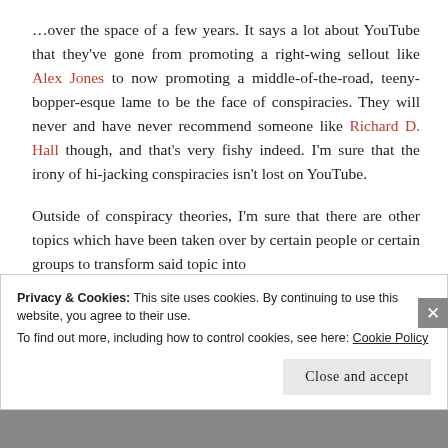…over the space of a few years. It says a lot about YouTube that they've gone from promoting a right-wing sellout like Alex Jones to now promoting a middle-of-the-road, teeny-bopper-esque lame to be the face of conspiracies. They will never and have never recommend someone like Richard D. Hall though, and that's very fishy indeed. I'm sure that the irony of hi-jacking conspiracies isn't lost on YouTube.
Outside of conspiracy theories, I'm sure that there are other topics which have been taken over by certain people or certain groups to transform said topic into
Privacy & Cookies: This site uses cookies. By continuing to use this website, you agree to their use.
To find out more, including how to control cookies, see here: Cookie Policy